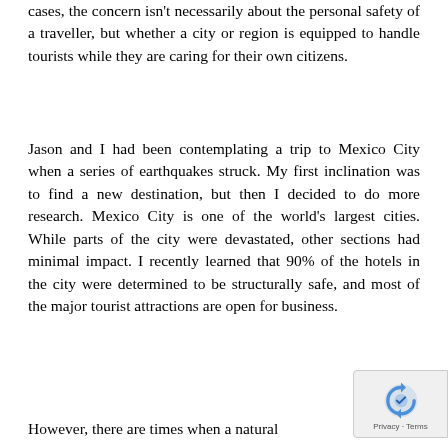cases, the concern isn't necessarily about the personal safety of a traveller, but whether a city or region is equipped to handle tourists while they are caring for their own citizens.
Jason and I had been contemplating a trip to Mexico City when a series of earthquakes struck. My first inclination was to find a new destination, but then I decided to do more research. Mexico City is one of the world's largest cities. While parts of the city were devastated, other sections had minimal impact. I recently learned that 90% of the hotels in the city were determined to be structurally safe, and most of the major tourist attractions are open for business.
However, there are times when a natural